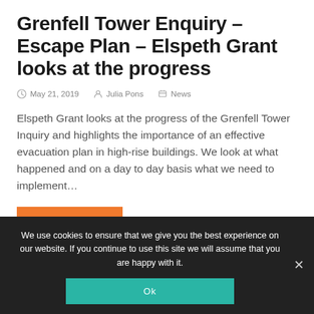Grenfell Tower Enquiry – Escape Plan – Elspeth Grant looks at the progress
May 21, 2019   Julia Pons   News
Elspeth Grant looks at the progress of the Grenfell Tower Inquiry and highlights the importance of an effective evacuation plan in high-rise buildings. We look at what happened and on a day to day basis what we need to implement…
Read More
We use cookies to ensure that we give you the best experience on our website. If you continue to use this site we will assume that you are happy with it.
Ok